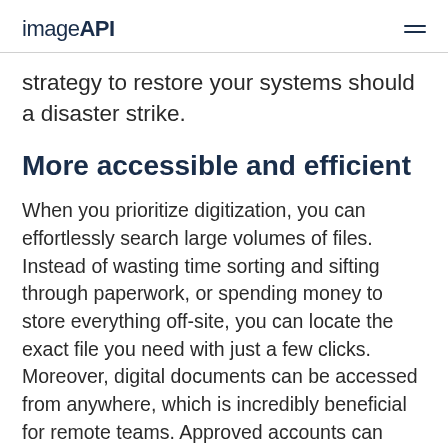imageAPI
strategy to restore your systems should a disaster strike.
More accessible and efficient
When you prioritize digitization, you can effortlessly search large volumes of files. Instead of wasting time sorting and sifting through paperwork, or spending money to store everything off-site, you can locate the exact file you need with just a few clicks. Moreover, digital documents can be accessed from anywhere, which is incredibly beneficial for remote teams. Approved accounts can utilize digital information with ease, which means productivity is subject to increase, and at the same time, inaccuracies in record